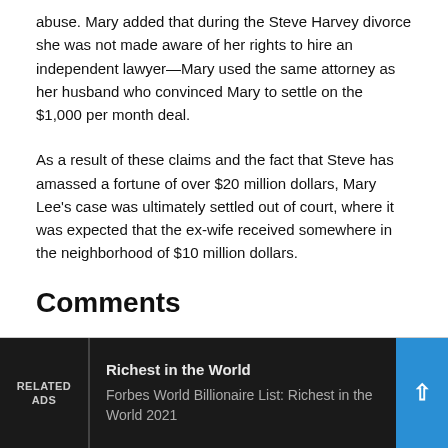abuse. Mary added that during the Steve Harvey divorce she was not made aware of her rights to hire an independent lawyer—Mary used the same attorney as her husband who convinced Mary to settle on the $1,000 per month deal.
As a result of these claims and the fact that Steve has amassed a fortune of over $20 million dollars, Mary Lee's case was ultimately settled out of court, where it was expected that the ex-wife received somewhere in the neighborhood of $10 million dollars.
Comments
RELATED ADS | Richest in the World | Forbes World Billionaire List: Richest in the World 2021